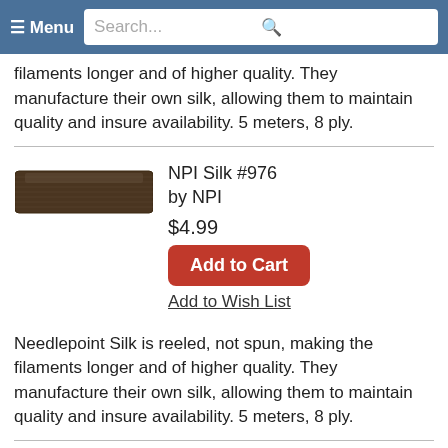Menu | Search...
filaments longer and of higher quality. They manufacture their own silk, allowing them to maintain quality and insure availability. 5 meters, 8 ply.
[Figure (photo): Dark brown silk thread skein for NPI Silk #976]
NPI Silk #976
by NPI
$4.99
Add to Cart
Add to Wish List
Needlepoint Silk is reeled, not spun, making the filaments longer and of higher quality. They manufacture their own silk, allowing them to maintain quality and insure availability. 5 meters, 8 ply.
[Figure (photo): Tan/gold silk thread skein for NPI Silk #316]
★★★★★
NPI Silk #316
by NPI